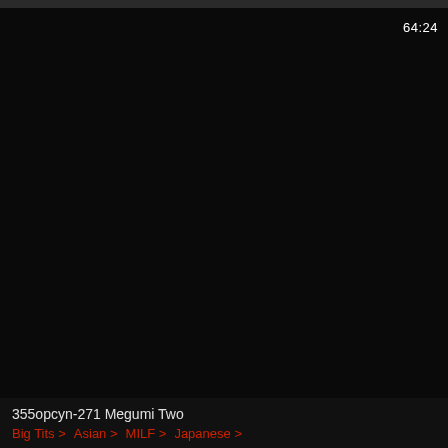[Figure (screenshot): Black video thumbnail placeholder for the first video card]
64:24
355opcyn-271 Megumi Two
Big Tits >  Asian >  MILF >  Japanese >
[Figure (screenshot): Black video thumbnail placeholder for the second video card]
26:11